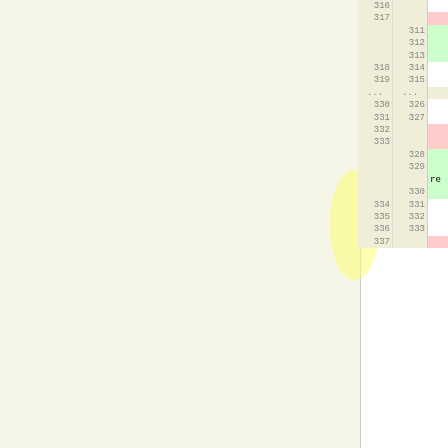| old | new | code |
| --- | --- | --- |
| 316 |  |     /// |
| 317 |  |     /// Runs the algorithm. |
|  | 311 |     /// \brief Run the algorithm. |
|  | 312 |     /// |
|  | 313 |     /// Run the algorithm. |
| 318 | 314 |     /// |
| 319 | 315 |     /// \param min_mean_cc Set this parameter to \c true to run the |
| ... | ... |  |
| 330 | 326 |     /// \name Query Functions |
| 331 | 327 |     /// The result of the algorithm can be obtained using these |
| 332 |  |     /// functions. |
| 333 |  |     /// \n run() must be called before using them. |
|  | 328 |     /// functions.\n |
|  | 329 |     /// \ref lemon::CycleCanceling::run() "run()" must be called before |
|  | 330 |     /// using them. |
| 334 | 331 |  |
| 335 | 332 |     /// @{ |
| 336 | 333 |  |
| 337 |  |     /// \brief Returns a const reference to the edge map storing the |